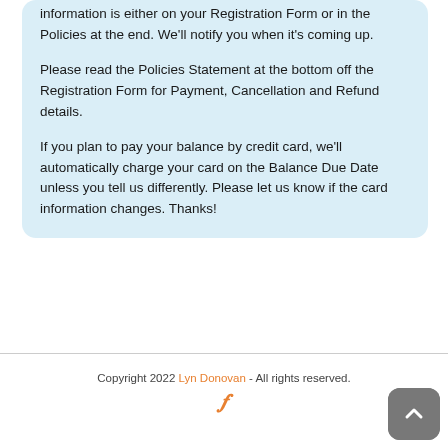information is either on your Registration Form or in the Policies at the end. We'll notify you when it's coming up.

Please read the Policies Statement at the bottom off the Registration Form for Payment, Cancellation and Refund details.

If you plan to pay your balance by credit card, we'll automatically charge your card on the Balance Due Date unless you tell us differently. Please let us know if the card information changes. Thanks!
Copyright 2022 Lyn Donovan - All rights reserved.